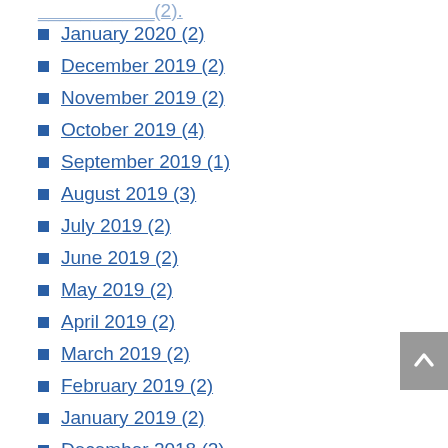January 2020 (2)
December 2019 (2)
November 2019 (2)
October 2019 (4)
September 2019 (1)
August 2019 (3)
July 2019 (2)
June 2019 (2)
May 2019 (2)
April 2019 (2)
March 2019 (2)
February 2019 (2)
January 2019 (2)
December 2018 (2)
November 2018 (2)
October 2018 (2)